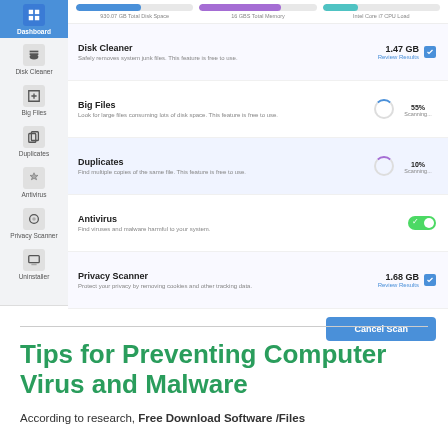[Figure (screenshot): Screenshot of a PC cleaner/antivirus app dashboard showing sidebar with Dashboard, Disk Cleaner, Big Files, Duplicates, Antivirus, Privacy Scanner, Uninstaller icons. Main panel shows top progress bars for Disk Space, Memory, CPU Load. Feature rows: Disk Cleaner (1.47 GB, Review Results, checkbox), Big Files (55% Scanning...), Duplicates (10% Scanning...), Antivirus (green toggle on), Privacy Scanner (1.68 GB, Review Results, checkbox). Cancel Scan button at bottom right.]
Tips for Preventing Computer Virus and Malware
According to research, Free Download Software /Files...